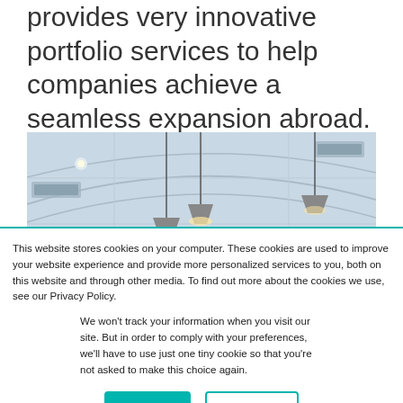provides very innovative portfolio services to help companies achieve a seamless expansion abroad.
[Figure (photo): Interior ceiling photo showing hanging pendant lights in a modern office or showroom with white ceiling tiles and HVAC vents.]
This website stores cookies on your computer. These cookies are used to improve your website experience and provide more personalized services to you, both on this website and through other media. To find out more about the cookies we use, see our Privacy Policy.
We won't track your information when you visit our site. But in order to comply with your preferences, we'll have to use just one tiny cookie so that you're not asked to make this choice again.
Accept
Decline